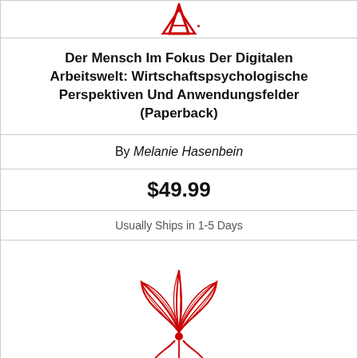[Figure (logo): Red logo mark at top of page, partially visible]
Der Mensch Im Fokus Der Digitalen Arbeitswelt: Wirtschaftspsychologische Perspektiven Und Anwendungsfelder (Paperback)
By Melanie Hasenbein
$49.99
Usually Ships in 1-5 Days
[Figure (logo): Red illustrated logo of a figure with wings/leaves, Inkwater Press or similar publisher logo]
Wie Wollen Wir Leben?: Über Unsere Zukunft